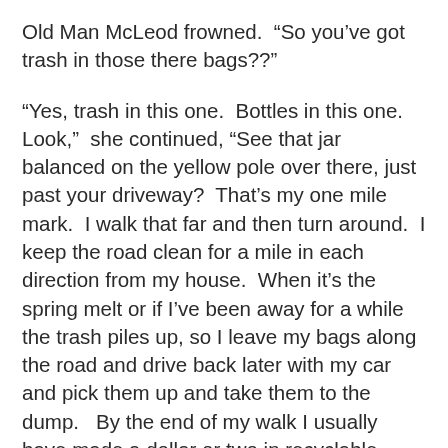Old Man McLeod frowned.  “So you’ve got trash in those there bags??”
“Yes, trash in this one.  Bottles in this one.  Look,”  she continued, “See that jar balanced on the yellow pole over there, just past your driveway?  That’s my one mile mark.  I walk that far and then turn around.  I keep the road clean for a mile in each direction from my house.  When it’s the spring melt or if I’ve been away for a while the trash piles up, so I leave my bags along the road and drive back later with my car and pick them up and take them to the dump.   By the end of my walk I usually have made a dollar or two in recyclable bottles, and plus all the bending and stretching probably does me as much good as the aerobic exercise.”